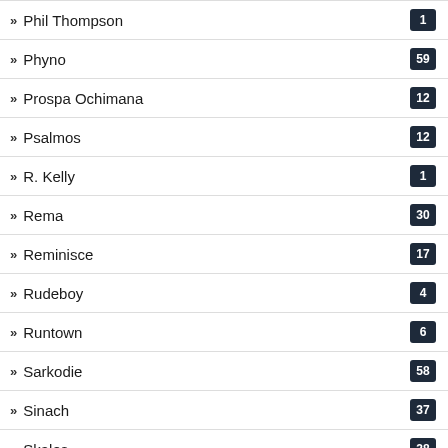Phil Thompson 1
Phyno 59
Prospa Ochimana 12
Psalmos 12
R. Kelly 1
Rema 30
Reminisce 17
Rudeboy 4
Runtown 6
Sarkodie 58
Sinach 37
Skales 28
Tekno 34